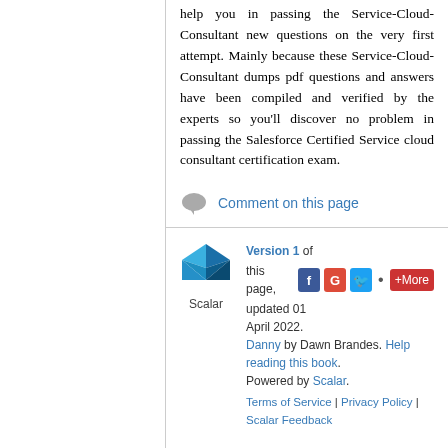help you in passing the Service-Cloud-Consultant new questions on the very first attempt. Mainly because these Service-Cloud-Consultant dumps pdf questions and answers have been compiled and verified by the experts so you'll discover no problem in passing the Salesforce Certified Service cloud consultant certification exam.
Comment on this page
[Figure (logo): Scalar logo — blue geometric shape with 'Scalar' text below]
Version 1 of this page, updated 01 April 2022. Danny by Dawn Brandes. Help reading this book. Powered by Scalar. Terms of Service | Privacy Policy | Scalar Feedback